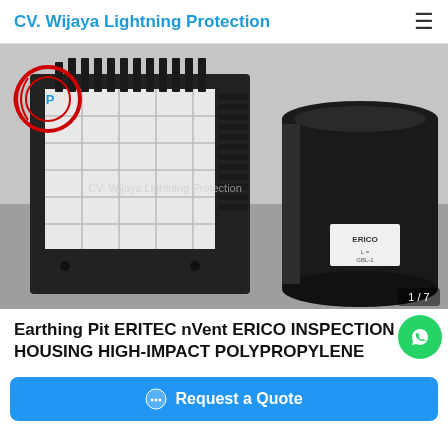CV. Wijaya Lightning Protection
[Figure (photo): Product photo showing an Earthing Pit ERITEC nVent ERICO Inspection Housing made of high-impact polypropylene. Left side shows a square black-framed panel with white grid interior. Right side shows a large black cylindrical bucket/container with an ERICO label. A watermark reads CV. Wijaya Lightning Protection. Image counter shows 1/7.]
Earthing Pit ERITEC nVent ERICO INSPECTION HOUSING HIGH-IMPACT POLYPROPYLENE
Request a Quote